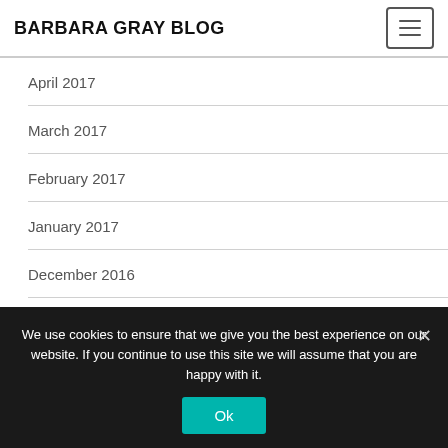BARBARA GRAY BLOG
April 2017
March 2017
February 2017
January 2017
December 2016
November 2016
October 2016
We use cookies to ensure that we give you the best experience on our website. If you continue to use this site we will assume that you are happy with it.
Ok